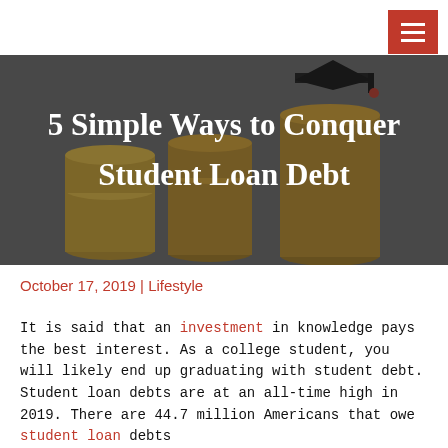[Figure (photo): Hero image showing stacked gold coins with a graduation cap on top, grey background, overlaid with article title text in white.]
5 Simple Ways to Conquer Student Loan Debt
October 17, 2019 | Lifestyle
It is said that an investment in knowledge pays the best interest. As a college student, you will likely end up graduating with student debt. Student loan debts are at an all-time high in 2019. There are 44.7 million Americans that owe student loan debts